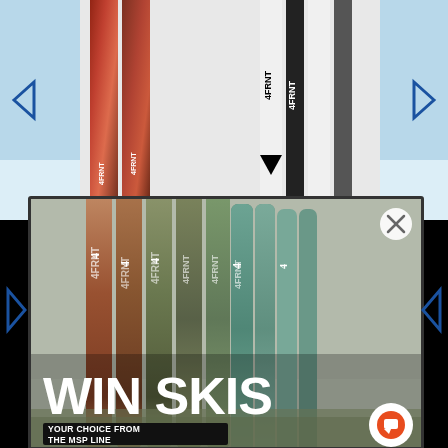[Figure (photo): Background photo of 4FRNT ski brand skis displayed vertically — colorful artistic skis on left side and white/black 4FRNT branded skis on right, against a light blue snowy outdoor background]
[Figure (photo): Modal popup overlay showing multiple 4FRNT MSP line skis arranged vertically in a row against a misty outdoor background. Text overlay reads WIN SKIS with subtitle YOUR CHOICE FROM THE MSP LINE. Close (X) button in top right. Chat icon in bottom right.]
WIN SKIS
YOUR CHOICE FROM THE MSP LINE